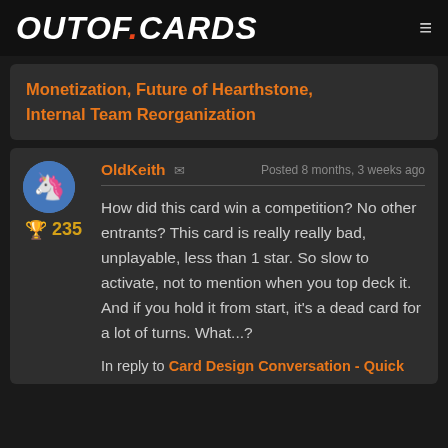OUTOF.CARDS
Monetization, Future of Hearthstone, Internal Team Reorganization
OldKeith   Posted 8 months, 3 weeks ago
🏆 235
How did this card win a competition? No other entrants? This card is really really bad, unplayable, less than 1 star. So slow to activate, not to mention when you top deck it. And if you hold it from start, it's a dead card for a lot of turns. What...?
In reply to Card Design Conversation - Quick